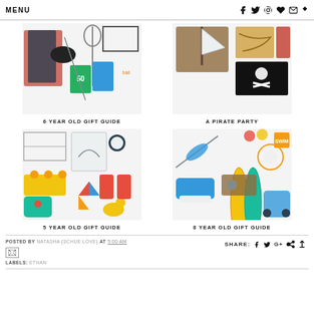MENU
[Figure (photo): 6 Year Old Gift Guide collage of toys and games]
6 YEAR OLD GIFT GUIDE
[Figure (photo): A Pirate Party collage of pirate-themed items]
A PIRATE PARTY
[Figure (photo): 5 Year Old Gift Guide collage of toys and games]
5 YEAR OLD GIFT GUIDE
[Figure (photo): 8 Year Old Gift Guide collage of outdoor toys]
8 YEAR OLD GIFT GUIDE
POSTED BY NATASHA {SCHUE LOVE} AT 5:00 AM
SHARE:
LABELS: ETHAN